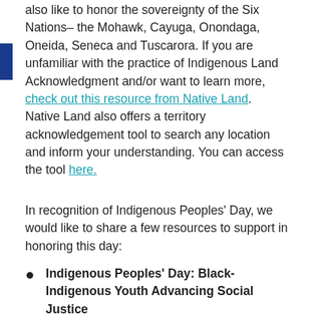also like to honor the sovereignty of the Six Nations–the Mohawk, Cayuga, Onondaga, Oneida, Seneca and Tuscarora. If you are unfamiliar with the practice of Indigenous Land Acknowledgment and/or want to learn more, check out this resource from Native Land. Native Land also offers a territory acknowledgement tool to search any location and inform your understanding. You can access the tool here.
In recognition of Indigenous Peoples' Day, we would like to share a few resources to support in honoring this day:
Indigenous Peoples' Day: Black-Indigenous Youth Advancing Social Justice
October 11, 2021